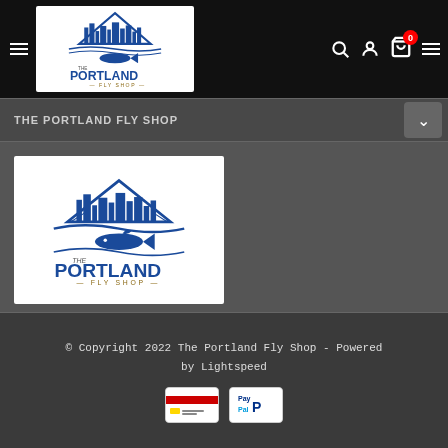[Figure (logo): The Portland Fly Shop logo in header navigation bar on black background]
THE PORTLAND FLY SHOP
[Figure (logo): The Portland Fly Shop logo - city skyline with fish and mountain, blue on white background]
© Copyright 2022 The Portland Fly Shop - Powered by Lightspeed